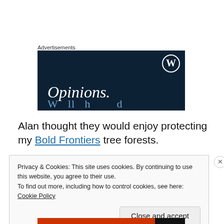Advertisements
[Figure (illustration): WordPress advertisement banner with dark navy background, WordPress logo (W in circle) in top right, large italic white text 'Opinions.' and partial blue decorative text below]
Alan thought they would enjoy protecting my Bold Frontiers tree forests.
Privacy & Cookies: This site uses cookies. By continuing to use this website, you agree to their use.
To find out more, including how to control cookies, see here: Cookie Policy
Close and accept